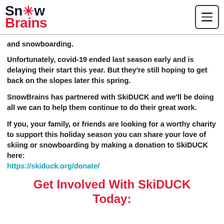SnowBrains
and snowboarding.
Unfortunately, covid-19 ended last season early and is delaying their start this year. But they're still hoping to get back on the slopes later this spring.
SnowBrains has partnered with SkiDUCK and we'll be doing all we can to help them continue to do their great work.
If you, your family, or friends are looking for a worthy charity to support this holiday season you can share your love of skiing or snowboarding by making a donation to SkiDUCK here: https://skiduck.org/donate/
Get Involved With SkiDUCK Today: